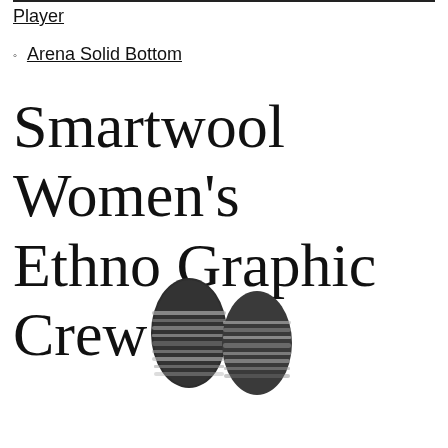Player
Arena Solid Bottom
Smartwool Women's Ethno Graphic Crew
[Figure (photo): Two crew socks displayed upright, showing dark gray/charcoal background with colorful ethnic graphic stripe pattern.]